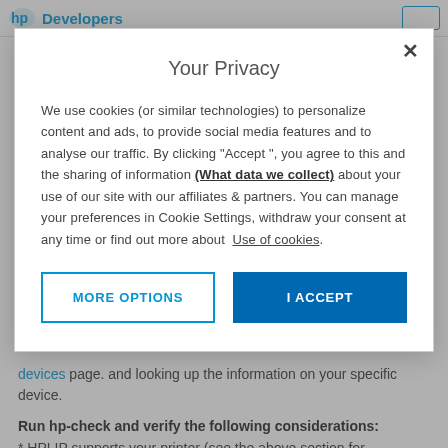[Figure (logo): HP Developers logo in the page header]
Your Privacy
We use cookies (or similar technologies) to personalize content and ads, to provide social media features and to analyse our traffic. By clicking "Accept ", you agree to this and the sharing of information (What data we collect) about your use of our site with our affiliates & partners. You can manage your preferences in Cookie Settings, withdraw your consent at any time or find out more about Use of cookies.
MORE OPTIONS
I ACCEPT
devices page. and looking up the information on your specific device.
Run hp-check and verify the following considerations:
* HPLIP supports your printer (see the above section for